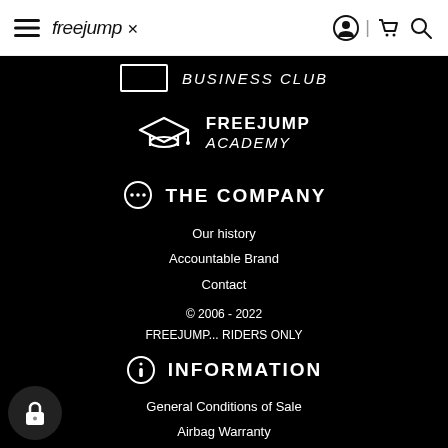freejump [navigation bar with hamburger menu, logo, user icon, cart icon, search icon]
BUSINESS CLUB
FREEJUMP ACADEMY
THE COMPANY
Our history
Accountable Brand
Contact
© 2006 - 2022
FREEJUMP... RIDERS ONLY
INFORMATION
General Conditions of Sale
Airbag Warranty
Products Registration
Table of Measurements